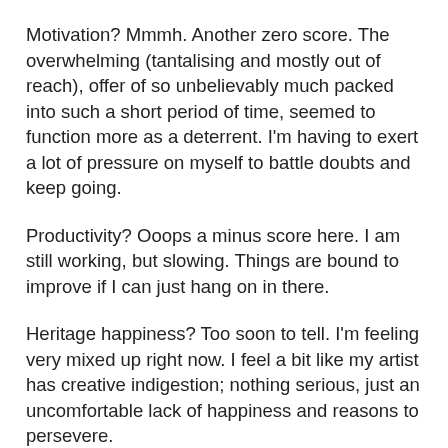Motivation? Mmmh. Another zero score. The overwhelming (tantalising and mostly out of reach), offer of so unbelievably much packed into such a short period of time, seemed to function more as a deterrent. I'm having to exert a lot of pressure on myself to battle doubts and keep going.
Productivity? Ooops a minus score here. I am still working, but slowing. Things are bound to improve if I can just hang on in there.
Heritage happiness? Too soon to tell. I'm feeling very mixed up right now. I feel a bit like my artist has creative indigestion; nothing serious, just an uncomfortable lack of happiness and reasons to persevere.
Integration? A section of the population is more aware